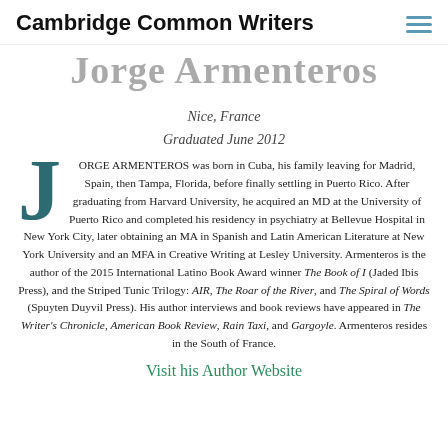Cambridge Common Writers
Jorge Armenteros
Nice, France
Graduated June 2012
JORGE ARMENTEROS was born in Cuba, his family leaving for Madrid, Spain, then Tampa, Florida, before finally settling in Puerto Rico. After graduating from Harvard University, he acquired an MD at the University of Puerto Rico and completed his residency in psychiatry at Bellevue Hospital in New York City, later obtaining an MA in Spanish and Latin American Literature at New York University and an MFA in Creative Writing at Lesley University. Armenteros is the author of the 2015 International Latino Book Award winner The Book of I (Jaded Ibis Press), and the Striped Tunic Trilogy: AIR, The Roar of the River, and The Spiral of Words (Spuyten Duyvil Press). His author interviews and book reviews have appeared in The Writer's Chronicle, American Book Review, Rain Taxi, and Gargoyle. Armenteros resides in the South of France.
Visit his Author Website